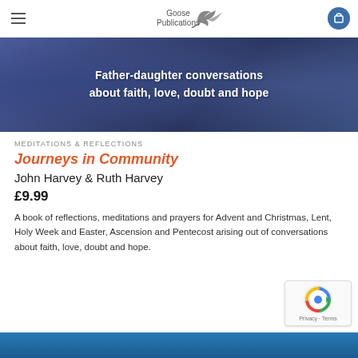Goose Publications
[Figure (photo): Dark blue-purple banner image with text overlay reading 'Father-daughter conversations about faith, love, doubt and hope']
Father-daughter conversations about faith, love, doubt and hope
MEDITATIONS & REFLECTIONS
Journeys in Community
John Harvey & Ruth Harvey
£9.99
A book of reflections, meditations and prayers for Advent and Christmas, Lent, Holy Week and Easter, Ascension and Pentecost arising out of conversations about faith, love, doubt and hope.